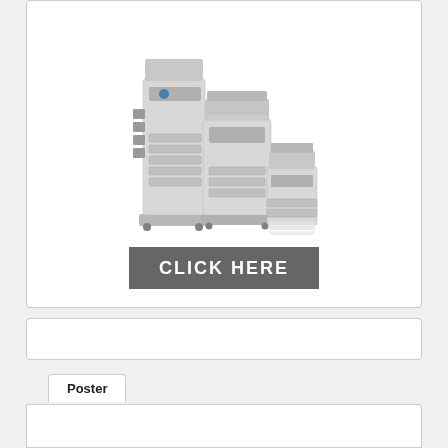[Figure (photo): HP office printers and multifunction devices arranged together — a tall printer with multiple paper trays on a stand, and two smaller multifunction printers side by side. Below the image is a dark gray banner reading CLICK HERE in large bold white letters.]
[Figure (other): Empty white card/panel area in the middle of the page.]
Poster